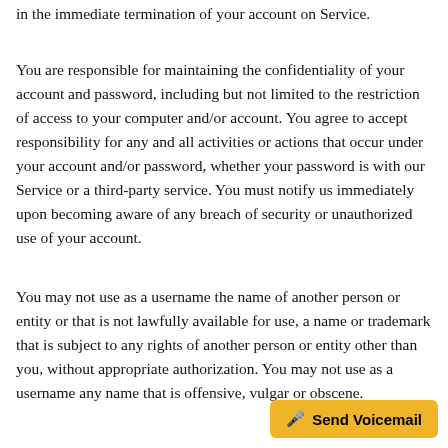in the immediate termination of your account on Service.
You are responsible for maintaining the confidentiality of your account and password, including but not limited to the restriction of access to your computer and/or account. You agree to accept responsibility for any and all activities or actions that occur under your account and/or password, whether your password is with our Service or a third-party service. You must notify us immediately upon becoming aware of any breach of security or unauthorized use of your account.
You may not use as a username the name of another person or entity or that is not lawfully available for use, a name or trademark that is subject to any rights of another person or entity other than you, without appropriate authorization. You may not use as a username any name that is offensive, vulgar or obscene.